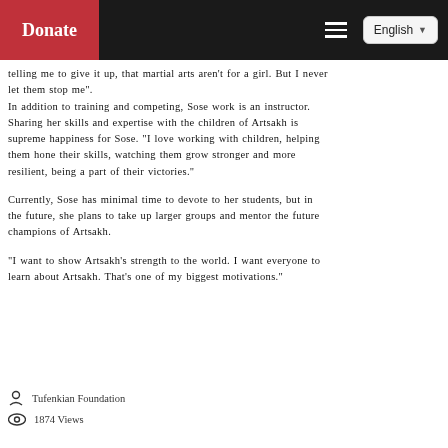Donate | English
telling me to give it up, that martial arts aren't for a girl. But I never let them stop me". In addition to training and competing, Sose work is an instructor. Sharing her skills and expertise with the children of Artsakh is supreme happiness for Sose. "I love working with children, helping them hone their skills, watching them grow stronger and more resilient, being a part of their victories."
Currently, Sose has minimal time to devote to her students, but in the future, she plans to take up larger groups and mentor the future champions of Artsakh.
"I want to show Artsakh's strength to the world. I want everyone to learn about Artsakh. That's one of my biggest motivations."
Tufenkian Foundation
1874 Views